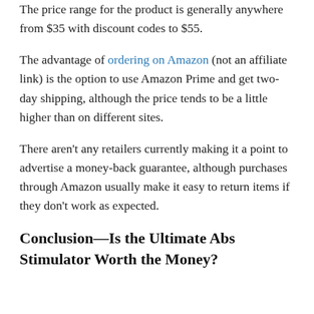The price range for the product is generally anywhere from $35 with discount codes to $55.
The advantage of ordering on Amazon (not an affiliate link) is the option to use Amazon Prime and get two-day shipping, although the price tends to be a little higher than on different sites.
There aren't any retailers currently making it a point to advertise a money-back guarantee, although purchases through Amazon usually make it easy to return items if they don't work as expected.
Conclusion—Is the Ultimate Abs Stimulator Worth the Money?